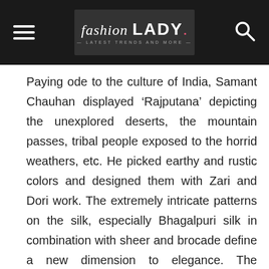fashion LADY · Latest Trends and More
Paying ode to the culture of India, Samant Chauhan displayed ‘Rajputana’ depicting the unexplored deserts, the mountain passes, tribal people exposed to the horrid weathers, etc. He picked earthy and rustic colors and designed them with Zari and Dori work. The extremely intricate patterns on the silk, especially Bhagalpuri silk in combination with sheer and brocade define a new dimension to elegance. The excellence of this compilation is achieved with the braiding patterns of the hair of models complimenting the theme.